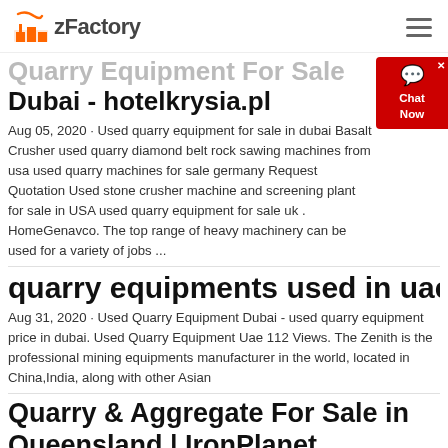zFactory
Quarry Equipment For Sale Dubai - hotelkrysia.pl
Aug 05, 2020 · Used quarry equipment for sale in dubai Basalt Crusher used quarry diamond belt rock sawing machines from usa used quarry machines for sale germany Request Quotation Used stone crusher machine and screening plant for sale in USA used quarry equipment for sale uk . HomeGenavco. The top range of heavy machinery can be used for a variety of jobs ...
quarry equipments used in uae
Aug 31, 2020 · Used Quarry Equipment Dubai - used quarry equipment price in dubai. Used Quarry Equipment Uae 112 Views. The Zenith is the professional mining equipments manufacturer in the world, located in China,India, along with other Asian
Quarry & Aggregate For Sale in Queensland | IronPlanet